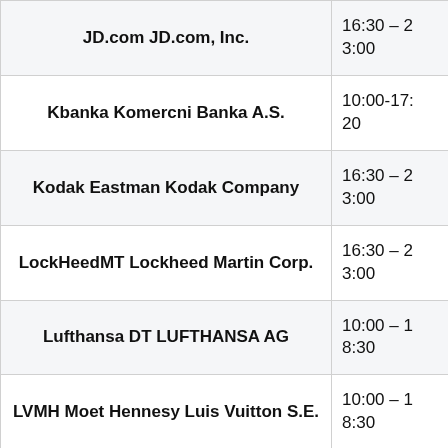| Company | Time |
| --- | --- |
| JD.com JD.com, Inc. | 16:30 – 23:00 |
| Kbanka Komercni Banka A.S. | 10:00-17:20 |
| Kodak Eastman Kodak Company | 16:30 – 23:00 |
| LockHeedMT Lockheed Martin Corp. | 16:30 – 23:00 |
| Lufthansa DT LUFTHANSA AG | 10:00 – 18:30 |
| LVMH Moet Hennesy Luis Vuitton S.E. | 10:00 – 18:30 |